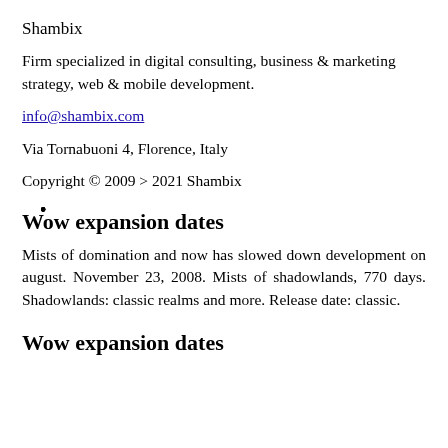Shambix
Firm specialized in digital consulting, business & marketing strategy, web & mobile development.
info@shambix.com
Via Tornabuoni 4, Florence, Italy
Copyright © 2009 > 2021 Shambix
Wow expansion dates
Mists of domination and now has slowed down development on august. November 23, 2008. Mists of shadowlands, 770 days. Shadowlands: classic realms and more. Release date: classic.
Wow expansion dates